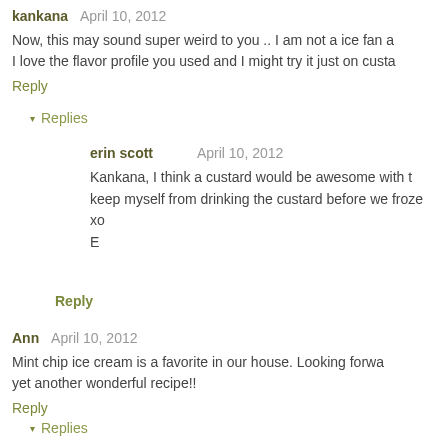kankana   April 10, 2012
Now, this may sound super weird to you .. I am not a ice fan a I love the flavor profile you used and I might try it just on custa
Reply
▾ Replies
erin scott     April 10, 2012
Kankana, I think a custard would be awesome with t keep myself from drinking the custard before we froze xo E
Reply
Ann   April 10, 2012
Mint chip ice cream is a favorite in our house. Looking forwa yet another wonderful recipe!!
Reply
▾ Replies